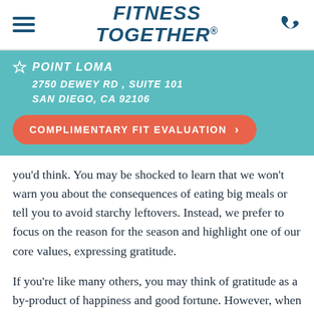FITNESS TOGETHER™
POINT LOMA
2750 DEWEY RD , SUITE 101
SAN DIEGO, CA 92106
COMPLIMENTARY FIT EVALUATION >
you'd think. You may be shocked to learn that we won't warn you about the consequences of eating big meals or tell you to avoid starchy leftovers. Instead, we prefer to focus on the reason for the season and highlight one of our core values, expressing gratitude.
If you're like many others, you may think of gratitude as a by-product of happiness and good fortune. However, when expressing gratitude...